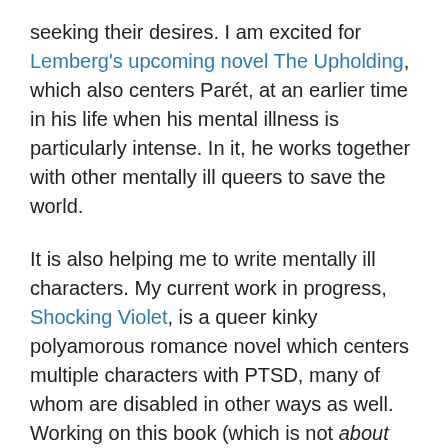seeking their desires. I am excited for Lemberg's upcoming novel The Upholding, which also centers Parét, at an earlier time in his life when his mental illness is particularly intense. In it, he works together with other mentally ill queers to save the world.
It is also helping me to write mentally ill characters. My current work in progress, Shocking Violet, is a queer kinky polyamorous romance novel which centers multiple characters with PTSD, many of whom are disabled in other ways as well. Working on this book (which is not about mental illness, but centers mentally ill characters doing activism and building relationships with each other) has helped me ground in daily reality of managing trauma symptoms, and the diversity of ways that we approach this. This work, honing my intent to write a story that feels